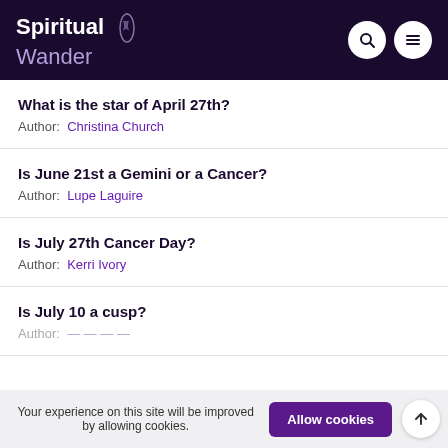Spiritual Wander
What is the star of April 27th?
Author: Christina Church
Is June 21st a Gemini or a Cancer?
Author: Lupe Laguire
Is July 27th Cancer Day?
Author: Kerri Ivory
Is July 10 a cusp?
Your experience on this site will be improved by allowing cookies.